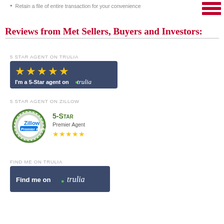Retain a file of entire transaction for your convenience
Reviews from Met Sellers, Buyers and Investors:
5 STAR AGENT ON TRULIA
[Figure (logo): Trulia 5-Star Agent badge: dark navy background with 5 gold stars and text 'I'm a 5-Star agent on trulia']
5 STAR AGENT ON ZILLOW
[Figure (logo): Zillow Premier Agent badge: green circular seal with Zillow logo and '5-Star Premier Agent' text with 5 gold stars]
FIND ME ON TRULIA
[Figure (logo): Trulia 'Find me on trulia' badge: dark navy background with pin icon and italic 'trulia' text]